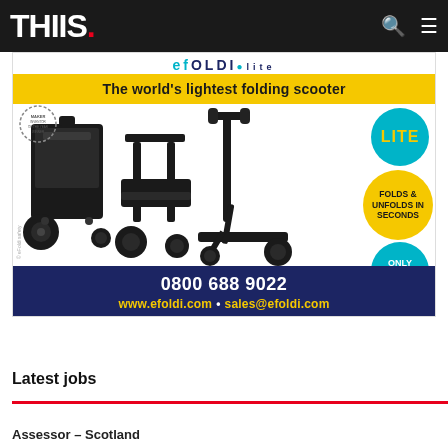THIIS.
[Figure (photo): eFoldi advertisement showing folding mobility scooter in three positions: folded as luggage, partially folded as a chair, and unfolded as a scooter. Yellow headline bar reads 'The world's lightest folding scooter'. Three circular badges: LITE (teal), FOLDS & UNFOLDS IN SECONDS (yellow), ONLY 15kg* (teal). Blue bar at bottom with phone number 0800 688 9022 and website www.efoldi.com and sales@efoldi.com.]
Latest jobs
Assessor – Scotland